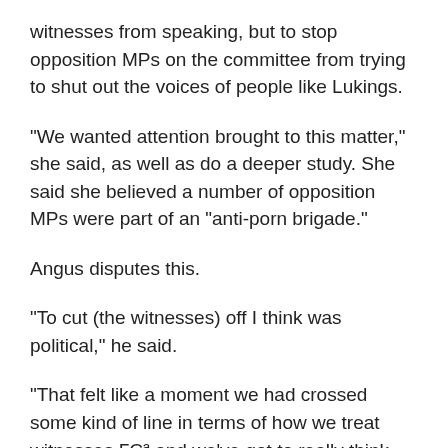witnesses from speaking, but to stop opposition MPs on the committee from trying to shut out the voices of people like Lukings.
"We wanted attention brought to this matter," she said, as well as do a deeper study. She said she believed a number of opposition MPs were part of an "anti-porn brigade."
Angus disputes this.
"To cut (the witnesses) off I think was political," he said.
"That felt like a moment we had crossed some kind of line in terms of how we treat witnesses ΓÇª and we've got to really think about that."